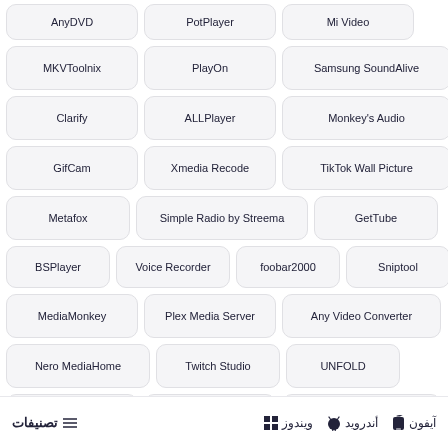AnyDVD
PotPlayer
Mi Video
MKVToolnix
PlayOn
Samsung SoundAlive
Clarify
ALLPlayer
Monkey's Audio
GifCam
Xmedia Recode
TikTok Wall Picture
Metafox
Simple Radio by Streema
GetTube
BSPlayer
Voice Recorder
foobar2000
Sniptool
MediaMonkey
Plex Media Server
Any Video Converter
Nero MediaHome
Twitch Studio
UNFOLD
Dubsmash
VRadio
Ares Mp3 Music
تصنيفات   آيفون   أندرويد   ويندوز